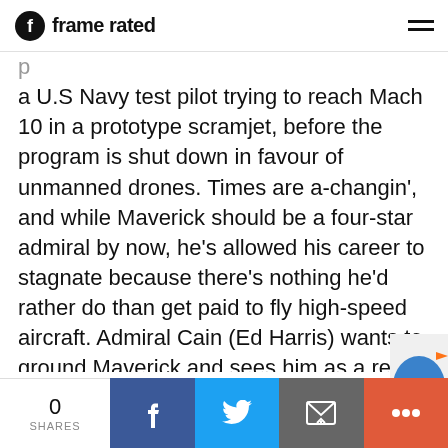frame rated
a U.S Navy test pilot trying to reach Mach 10 in a prototype scramjet, before the program is shut down in favour of unmanned drones. Times are a-changin', and while Maverick should be a four-star admiral by now, he's allowed his career to stagnate because there's nothing he'd rather do than get paid to fly high-speed aircraft. Admiral Cain (Ed Harris) wants to ground Maverick and sees him as a relic of a dying age, but he's instead reassigned to teach at the famous TOPGUN school for best-of-the-best aviators. Once there, Maverick discovers the son of his deceased best-friend Goose, Lt. Bradley “Roos
0 SHARES | Facebook | Twitter | Email | More